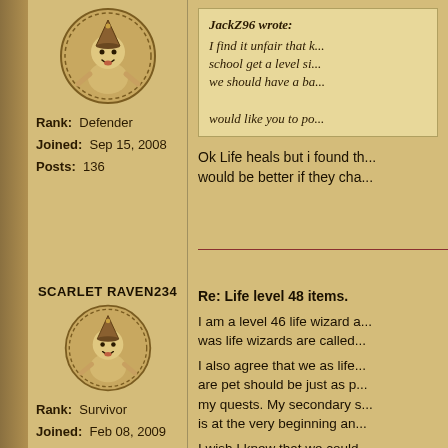[Figure (illustration): Circular avatar badge with cartoon wizard character wearing party hat, beige/tan coloring with dotted border]
Rank: Defender
Joined: Sep 15, 2008
Posts: 136
JackZ96 wrote:
I find it unfair that kids in school get a level six... we should have a ba...
would like you to po...
Ok Life heals but i found th... would be better if they cha...
SCARLET RAVEN234
[Figure (illustration): Circular avatar badge with cartoon wizard character wearing party hat, beige/tan coloring with dotted border, slightly smaller]
Rank: Survivor
Joined: Feb 08, 2009
Posts: 8
Re: Life level 48 items.
I am a level 46 life wizard a... was life wizards are called...
I also agree that we as life... are pet should be just as p... my quests. My secondary s... is at the very beginning an...
I wish I knew that we could...